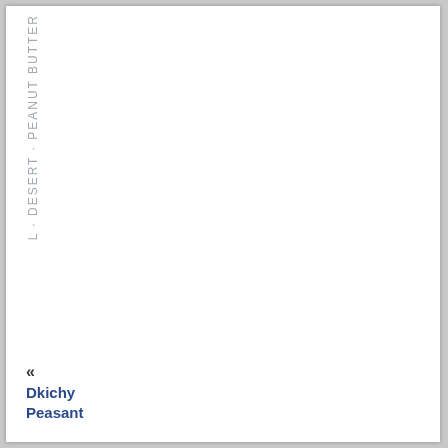L · DESERT · PEANUT BUTTER
«
Dkichy Peasant